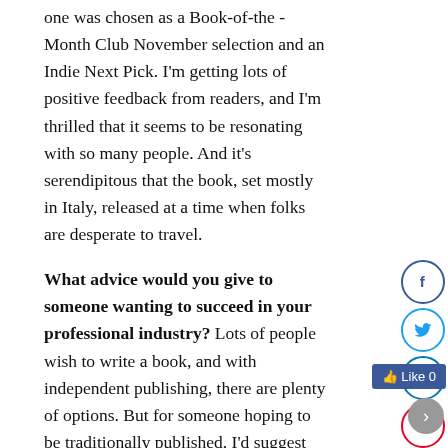one was chosen as a Book-of-the -Month Club November selection and an Indie Next Pick. I'm getting lots of positive feedback from readers, and I'm thrilled that it seems to be resonating with so many people. And it's serendipitous that the book, set mostly in Italy, released at a time when folks are desperate to travel.
What advice would you give to someone wanting to succeed in your professional industry? Lots of people wish to write a book, and with independent publishing, there are plenty of options. But for someone hoping to be traditionally published, I'd suggest studying the craft if you're serious about being a writer. I took six writing classes, read oodles of books on the craft of writing, attended many writing conferences and workshops, and wrote three complete novels before finally landing a book deal.
How do you handle setbacks and criticism? It's heartbreaking, really, and it never gets easy. Writing is a solitary craft, and we writers pour our souls into our work, sometimes for months, or even years. Rejection in this